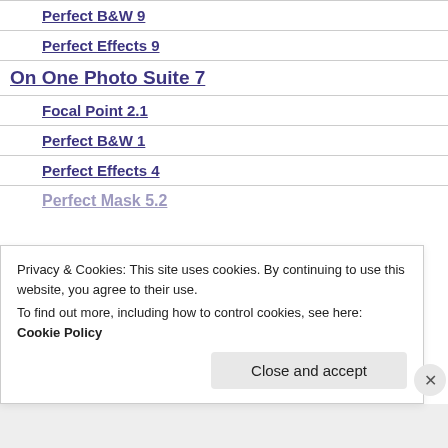Perfect B&W 9
Perfect Effects 9
On One Photo Suite 7
Focal Point 2.1
Perfect B&W 1
Perfect Effects 4
Perfect Mask 5.2
Privacy & Cookies: This site uses cookies. By continuing to use this website, you agree to their use. To find out more, including how to control cookies, see here: Cookie Policy
Close and accept